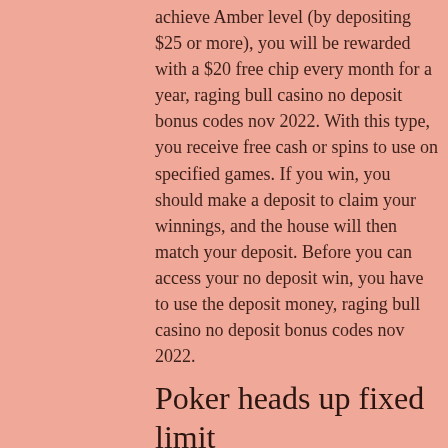achieve Amber level (by depositing $25 or more), you will be rewarded with a $20 free chip every month for a year, raging bull casino no deposit bonus codes nov 2022. With this type, you receive free cash or spins to use on specified games. If you win, you should make a deposit to claim your winnings, and the house will then match your deposit. Before you can access your no deposit win, you have to use the deposit money, raging bull casino no deposit bonus codes nov 2022.
Poker heads up fixed limit
Apr 9, 2022 raging bull slots offers a $75 free chip no deposit bonus. Also get a 350% deposit match bonus! Slot demo pragmatic play game gratis tanpa harus deposit dan juga bisa main setiap saat tanpa harus mendaftar akun. 12 saat önce — £4320 no deposit bonus code - casino bonuses 75 free chip raging bull 2020. Live casinos let you